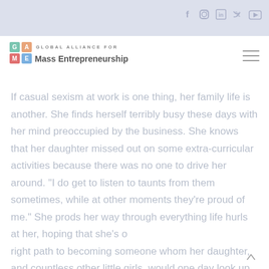Social media icons: Facebook, Instagram, LinkedIn, Twitter, YouTube
[Figure (logo): Global Alliance for Mass Entrepreneurship (GAME) logo with colored letter boxes G, A, M, E and text 'GLOBAL ALLIANCE FOR Mass Entrepreneurship']
If casual sexism at work is one thing, her family life is another. She finds herself terribly busy these days with her mind preoccupied by the business. She knows that her daughter missed out on some extra-curricular activities because there was no one to drive her around. "I do get to listen to taunts from them sometimes, while at other moments they're proud of me." She prods her way through everything life hurls at her, hoping that she's on the right path to becoming someone whom her daughter, and countless other little girls, would one day look up to.